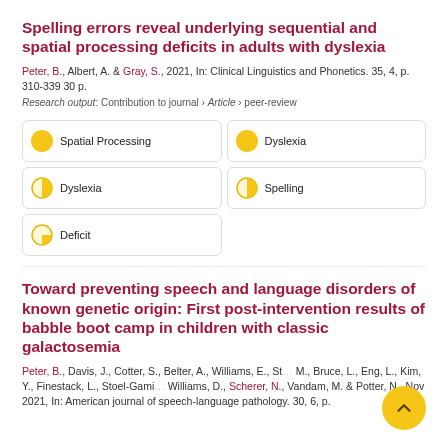Spelling errors reveal underlying sequential and spatial processing deficits in adults with dyslexia
Peter, B., Albert, A. & Gray, S., 2021, In: Clinical Linguistics and Phonetics. 35, 4, p. 310-339 30 p.
Research output: Contribution to journal › Article › peer-review
Spatial Processing
Dyslexia
Dyslexia
Spelling
Deficit
Toward preventing speech and language disorders of known genetic origin: First post-intervention results of babble boot camp in children with classic galactosemia
Peter, B., Davis, J., Cotter, S., Belter, A., Williams, E., St... M., Bruce, L., Eng, L., Kim, Y., Finestack, L., Stoel-Gami... Williams, D., Scherer, N., Vandam, M. & Potter, N., Nov 2021, In: American journal of speech-language pathology. 30, 6, p.